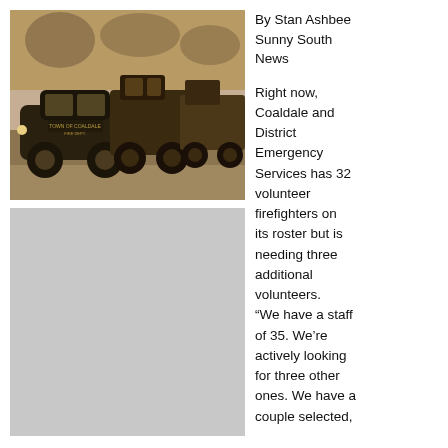[Figure (photo): Sepia-toned historical photograph of vintage cars and fire trucks on a street, including a dark sedan with 'Town of Coaldale' markings and older fire trucks in the background.]
By Stan Ashbee
Sunny South News
Right now, Coaldale and District Emergency Services has 32 volunteer firefighters on its roster but is needing three additional volunteers.
“We have a staff of 35. We’re actively looking for three other ones. We have a couple selected,
[Figure (photo): Gray/blank placeholder image, second photo in the left column.]